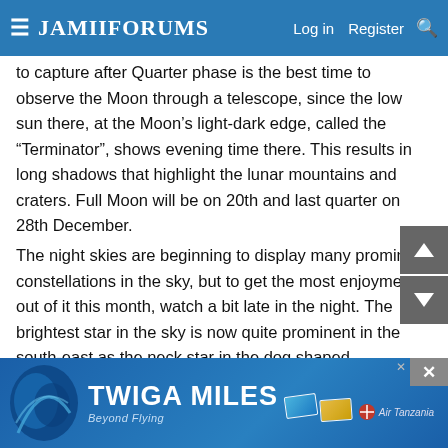JamiiForums — Log in  Register
to capture after Quarter phase is the best time to observe the Moon through a telescope, since the low sun there, at the Moon’s light-dark edge, called the “Terminator”, shows evening time there. This results in long shadows that highlight the lunar mountains and craters. Full Moon will be on 20th and last quarter on 28th December.
The night skies are beginning to display many prominent constellations in the sky, but to get the most enjoyment out of it this month, watch a bit late in the night. The brightest star in the sky is now quite prominent in the south-east as the neck star in the dog shaped constellation Canis Major (Big Dog). An arch of stars spanning eastwards reaching north among the dense collection of stars of the Milky Way begins with Canis Major giving way to the magnificent Orion, the hunter, which in turn leads to Taurus the bull, which contains the
[Figure (infographic): Twiga Miles advertisement banner with Air Tanzania branding, showing credit cards and the slogan Beyond Flying]